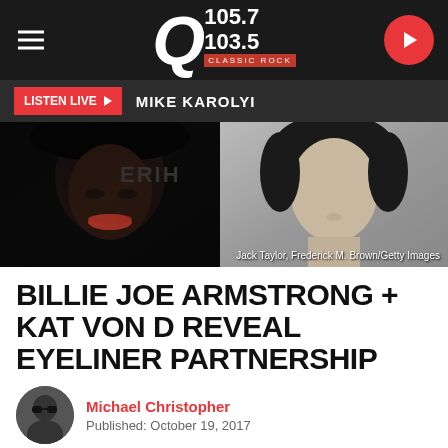Q 105.7 / 103.5 Classic Rock
LISTEN LIVE ▶  MIKE KAROLYI
[Figure (photo): Split photo: woman with red lips on left (dark/moody), man with dark curly hair on right (grayscale). Credit: Jack Taylor, Frederick M. Brown/Getty Images]
BILLIE JOE ARMSTRONG + KAT VON D REVEAL EYELINER PARTNERSHIP
Michael Christopher
Published: October 19, 2017
Share  Tweet